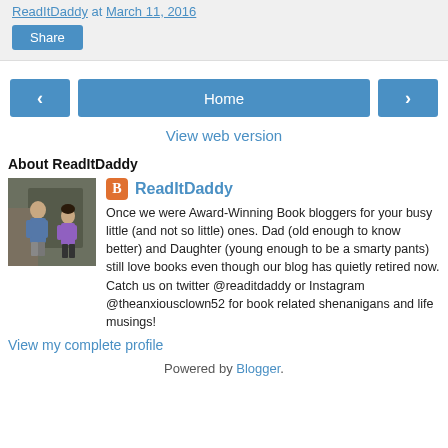ReadItDaddy at March 11, 2016
Share
Home
View web version
About ReadItDaddy
[Figure (photo): Photo of a man and child, ReadItDaddy blog profile picture]
ReadItDaddy
Once we were Award-Winning Book bloggers for your busy little (and not so little) ones. Dad (old enough to know better) and Daughter (young enough to be a smarty pants) still love books even though our blog has quietly retired now. Catch us on twitter @readitdaddy or Instagram @theanxiousclown52 for book related shenanigans and life musings!
View my complete profile
Powered by Blogger.